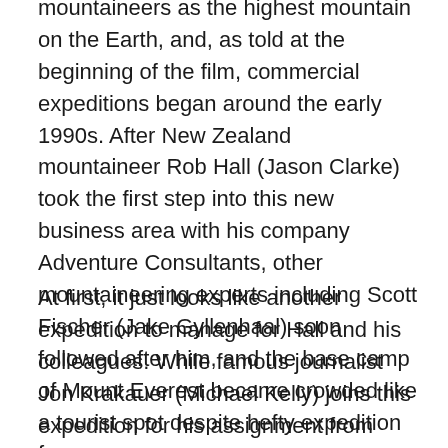mountaineers as the highest mountain on the Earth, and, as told at the beginning of the film, commercial expeditions began around the early 1990s. After New Zealand mountaineer Rob Hall (Jason Clarke) took the first step into this new business area with his company Adventure Consultants, other mountaineering experts including Scott Fischer (Jake Gyllenhaal) soon followed after him, and the base camp of Mount Everest became crowded like a tourist spot despite hefty expedition fee.
At first, it just looks like another expedition to manage for Hall and his colleagues. While famous journalist Jon Krakauer (Michael Kelly) joins this expedition for his assignment from Outside Magazine, we also meet the other notable members of Hall's group including Buck Weathers (Josh Brolin), Doug Hansen (John Hawkes), and